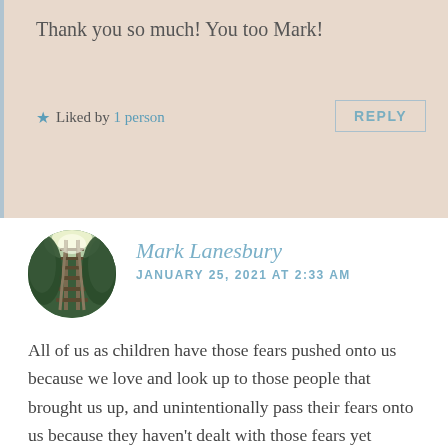Thank you so much! You too Mark!
★ Liked by 1 person
REPLY
Mark Lanesbury
JANUARY 25, 2021 AT 2:33 AM
All of us as children have those fears pushed onto us because we love and look up to those people that brought us up, and unintentionally pass their fears onto us because they haven't dealt with those fears yet themselves. We want to be loved so we copy them so that they will love us and we will not be rejected, but it happens as a part of life anyway. And the horrors they pass on, mainly in what feels like their rejection of us is splattered all through our relationships as we grow up. Many the time I